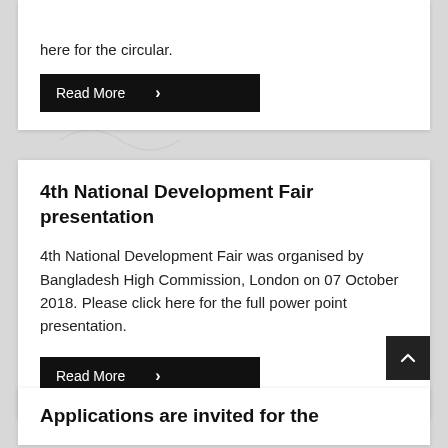here for the circular.
Read More >
4th National Development Fair presentation
4th National Development Fair was organised by Bangladesh High Commission, London on 07 October 2018. Please click here for the full power point presentation.
Read More >
Applications are invited for the